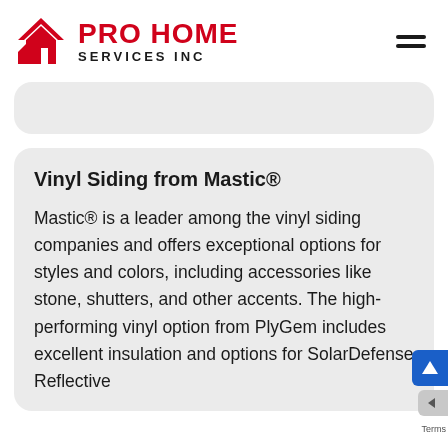[Figure (logo): Pro Home Services Inc logo with red house/chevron icon and red PRO HOME text with black SERVICES INC subtitle, plus hamburger menu icon on the right]
Vinyl Siding from Mastic®
Mastic® is a leader among the vinyl siding companies and offers exceptional options for styles and colors, including accessories like stone, shutters, and other accents. The high-performing vinyl option from PlyGem includes excellent insulation and options for SolarDefense Reflective